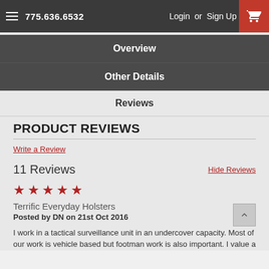775.636.6532  Login or Sign Up
Overview
Other Details
Reviews
PRODUCT REVIEWS
Write a Review
11 Reviews
Hide Reviews
★★★★★
Terrific Everyday Holsters
Posted by DN on 21st Oct 2016
I work in a tactical surveillance unit in an undercover capacity. Most of our work is vehicle based but footman work is also important. I value a